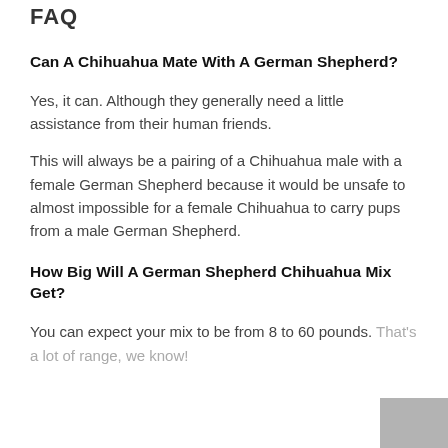FAQ
Can A Chihuahua Mate With A German Shepherd?
Yes, it can. Although they generally need a little assistance from their human friends.
This will always be a pairing of a Chihuahua male with a female German Shepherd because it would be unsafe to almost impossible for a female Chihuahua to carry pups from a male German Shepherd.
How Big Will A German Shepherd Chihuahua Mix Get?
You can expect your mix to be from 8 to 60 pounds. That's a lot of range, we know!